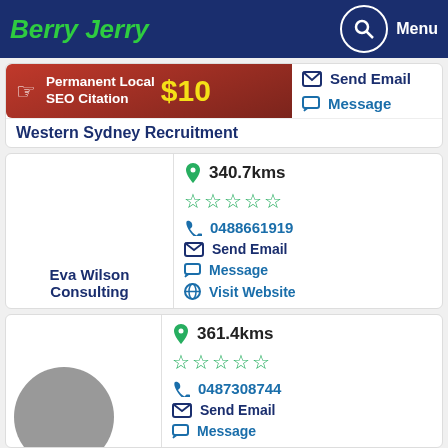Berry Jerry — Menu
[Figure (infographic): Permanent Local SEO Citation $10 banner with hand/cursor icon]
Send Email
Message
Western Sydney Recruitment
340.7kms
0488661919
Send Email
Message
Visit Website
Eva Wilson Consulting
361.4kms
0487308744
Send Email
Message